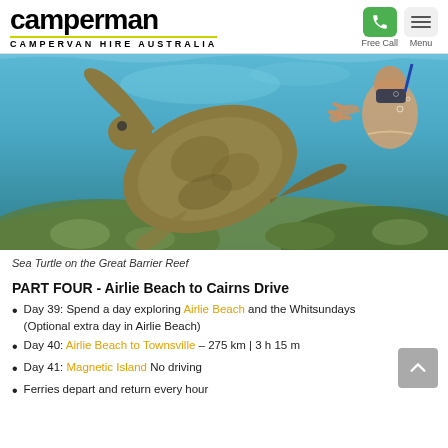[Figure (logo): Camperman Campervan Hire Australia logo with yellow-green accent]
[Figure (photo): Underwater photograph of a sea turtle swimming near coral on the Great Barrier Reef, with a snorkeler visible in the background]
Sea Turtle on the Great Barrier Reef
PART FOUR - Airlie Beach to Cairns Drive
Day 39: Spend a day exploring Airlie Beach and the Whitsundays (Optional extra day in Airlie Beach)
Day 40: Airlie Beach to Townsville – 275 km | 3 h 15 m
Day 41: Magnetic Island No driving
Ferries depart and return every hour